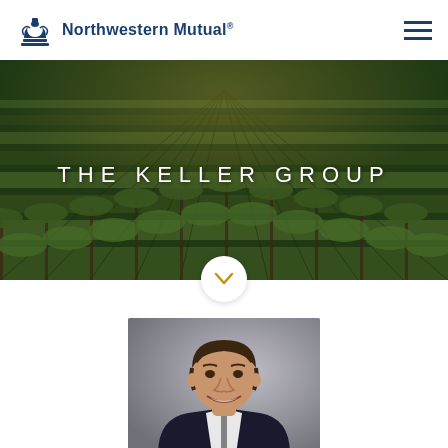Northwestern Mutual
[Figure (photo): Vineyard aerial/ground view with rows of grapevines in warm light. Text overlay reads THE KELLER GROUP in wide-spaced white letters.]
[Figure (photo): Professional headshot of a smiling man in a dark suit on a grey background.]